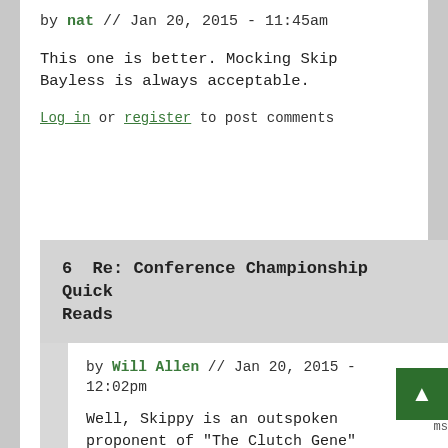by nat // Jan 20, 2015 - 11:45am
This one is better. Mocking Skip Bayless is always acceptable.
Log in or register to post comments
6  Re: Conference Championship Quick Reads
by Will Allen // Jan 20, 2015 - 12:02pm
Well, Skippy is an outspoken proponent of "The Clutch Gene" theory of athletic performance.
Log in or register to post comments